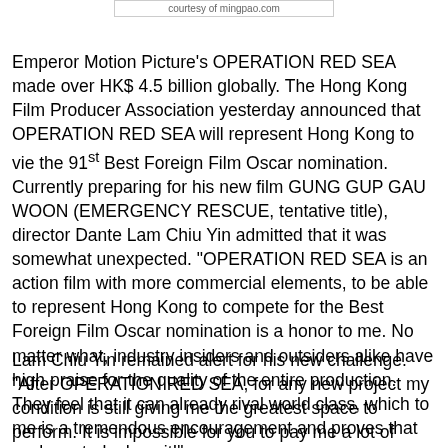courtesy of mingpao.com
Emperor Motion Picture's OPERATION RED SEA made over HK$ 4.5 billion globally. The Hong Kong Film Producer Association yesterday announced that OPERATION RED SEA will represent Hong Kong to vie the 91st Best Foreign Film Oscar nomination. Currently preparing for his new film GUNG GUP GAU WOON (EMERGENCY RESCUE, tentative title), director Dante Lam Chiu Yin admitted that it was somewhat unexpected. "OPERATION RED SEA is an action film with more commercial elements, to be able to represent Hong Kong to compete for the Best Foreign Film Oscar nomination is a honor to me. No matter what, industry insiders and outsiders alike have high praise for the quality of the entire production. They feel that it can already rival world class, which to me is a tremendous encouragement and proves that we have truly done it!"
Lam Chiu Yin remained alert for his new challenge. "After OPERATION RED SEA, for any new project my condition is still giving me the greatest space to perform. It is impossible for you to pay me a lot of money and I have to do it. I must